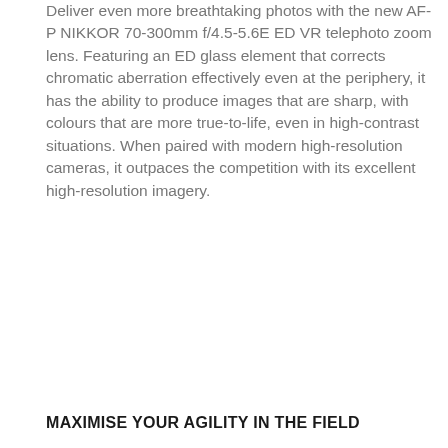Deliver even more breathtaking photos with the new AF-P NIKKOR 70-300mm f/4.5-5.6E ED VR telephoto zoom lens. Featuring an ED glass element that corrects chromatic aberration effectively even at the periphery, it has the ability to produce images that are sharp, with colours that are more true-to-life, even in high-contrast situations. When paired with modern high-resolution cameras, it outpaces the competition with its excellent high-resolution imagery.
MAXIMISE YOUR AGILITY IN THE FIELD